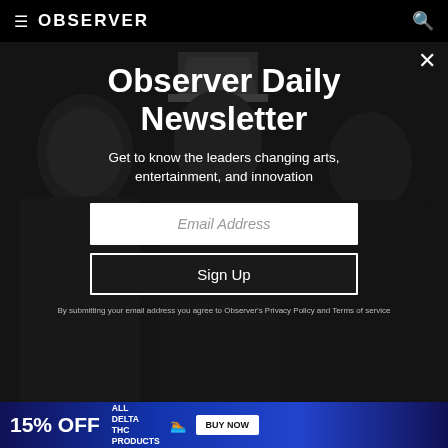≡ OBSERVER 🔍
[Figure (photo): Black and white photo of three people: a woman on the left, a man with a hat in the center, and another person on the right, used as background for a newsletter signup modal]
Observer Daily Newsletter
Get to know the leaders changing arts, entertainment, and innovation
Email Address
Sign Up
By submitting your email address you agree to Observer's Privacy Policy and Terms of service
[Figure (infographic): Advertisement banner: 15% OFF ALL DELTA THC PRODUCTS BUY NOW]